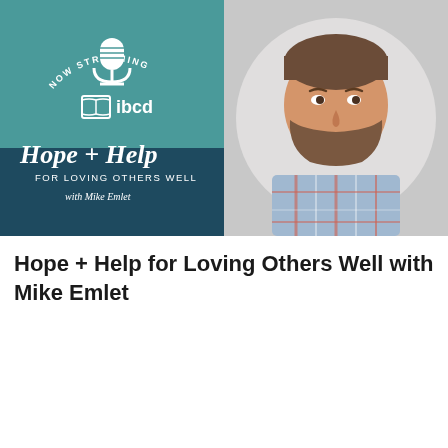[Figure (illustration): Podcast promotional image split into two halves. Left half: teal/dark teal background with 'NOW STREAMING' arc text at top, white microphone icon, IBCD logo with open book icon, 'Hope + Help' in large script text, 'FOR LOVING OTHERS WELL' in white sans-serif, 'with Mike Emlet' in script. Right half: light gray background with circular portrait photo of a smiling bearded man with brown/gray hair wearing a plaid shirt.]
Hope + Help for Loving Others Well with Mike Emlet